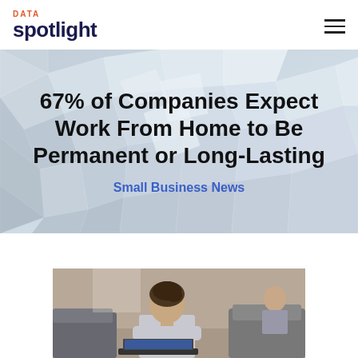DATA spotlight
67% of Companies Expect Work From Home to Be Permanent or Long-Lasting
Small Business News
[Figure (photo): Woman seen from behind working on a laptop in an office or co-working space, with another person visible in the background]